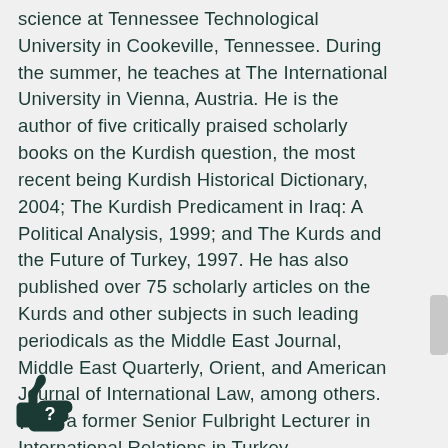science at Tennessee Technological University in Cookeville, Tennessee. During the sum-mer, he teaches at The International University in Vienna, Austria. He is the author of five critically praised scholarly books on the Kurdish question, the most recent being Kurdish Historical Dictionary, 2004; The Kurdish Predicament in Iraq: A Political Analysis, 1999; and The Kurds and the Future of Turkey, 1997. He has also published over 75 scholarly articles on the Kurds and other subjects in such leading peri-odicals as the Middle East Journal, Middle East Quarterly, Orient, and American Journal of International Law, among others. He is a former Senior Fulbright Lecturer in International Relations in Turkey.
[Figure (illustration): Thumbs up icon with a question mark]